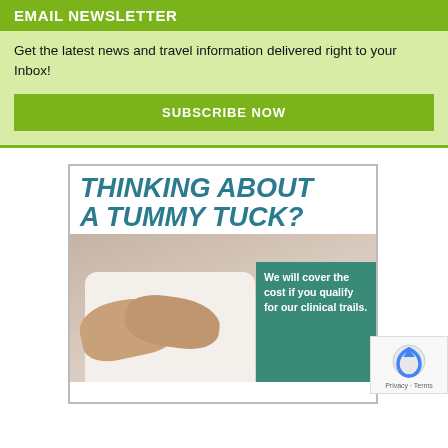EMAIL NEWSLETTER
Get the latest news and travel information delivered right to your Inbox!
SUBSCRIBE NOW
[Figure (infographic): Advertisement for tummy tuck clinical trial: large teal bold italic text 'THINKING ABOUT A TUMMY TUCK?' over image of person holding abdomen, with green overlay box reading 'We will cover the cost if you qualify for our clinical trails.' A reCAPTCHA badge appears at bottom right.]